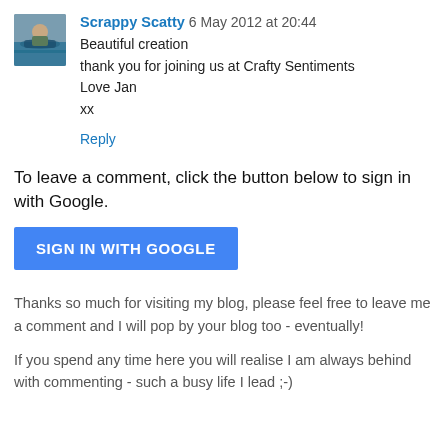[Figure (photo): Small avatar photo of Scrappy Scatty, showing a person near water with a blue kayak or boat]
Scrappy Scatty 6 May 2012 at 20:44
Beautiful creation
thank you for joining us at Crafty Sentiments
Love Jan
xx
Reply
To leave a comment, click the button below to sign in with Google.
SIGN IN WITH GOOGLE
Thanks so much for visiting my blog, please feel free to leave me a comment and I will pop by your blog too - eventually!
If you spend any time here you will realise I am always behind with commenting - such a busy life I lead ;-)